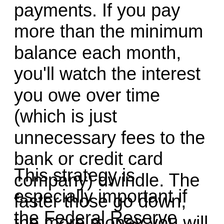payments. If you pay more than the minimum balance each month, you'll watch the interest you owe over time (which is just unnecessary fees to the bank or credit card company) dwindle. The faster those go down, the more money you will have to spend on things you actually want.
This strategy is especially important if the Federal Reserve eventually raises the interest rate. Aim for a